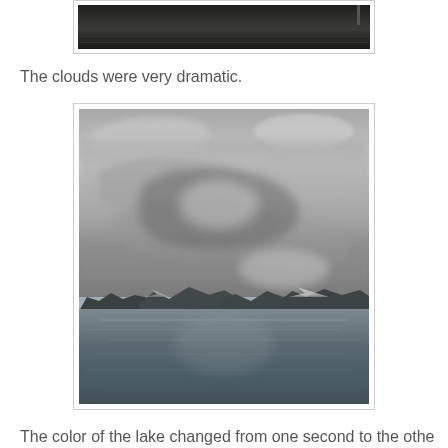[Figure (photo): Partial view of a dark water scene, possibly a dock or waterway, cropped at top of page]
The clouds were very dramatic.
[Figure (photo): Black and white photograph of a lake with dramatic cloudy sky, mountains visible in the background, calm water reflecting the sky]
The color of the lake changed from one second to the othe